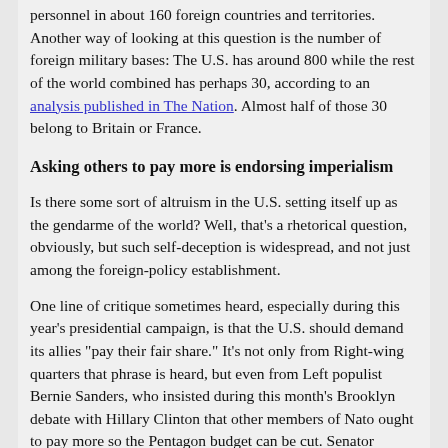personnel in about 160 foreign countries and territories. Another way of looking at this question is the number of foreign military bases: The U.S. has around 800 while the rest of the world combined has perhaps 30, according to an analysis published in The Nation. Almost half of those 30 belong to Britain or France.
Asking others to pay more is endorsing imperialism
Is there some sort of altruism in the U.S. setting itself up as the gendarme of the world? Well, that’s a rhetorical question, obviously, but such self-deception is widespread, and not just among the foreign-policy establishment.
One line of critique sometimes heard, especially during this year’s presidential campaign, is that the U.S. should demand its allies “pay their fair share.” It’s not only from Right-wing quarters that phrase is heard, but even from Left populist Bernie Sanders, who insisted during this month’s Brooklyn debate with Hillary Clinton that other members of Nato ought to pay more so the Pentagon budget can be cut. Senator Sanders said this in the context of pointing out the superior social benefits across Europe as compared to the U.S., but what it really implies is that militarism is justified.
So why is U.S. military spending so high? It’s because the repeated use of force is what is necessary to maintain the capitalist system. As